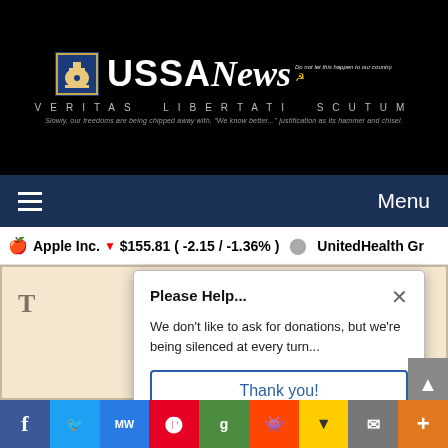[Figure (logo): USSA News website header with bell logo, 'USSA News' text, 'VERITAS LIBERTATI SCUTUM' subtitle, and tagline on black background]
Menu
Apple Inc. ▼ $155.81 ( -2.15 / -1.36% )   UnitedHealth Gr
T ... !!
Please Help...
We don't like to ask for donations, but we're being silenced at every turn...
Thank you!
[Figure (infographic): Social sharing bar with Facebook, Twitter, MeWe, Pinterest, Google, Reddit, Flipboard, Email, and More buttons]